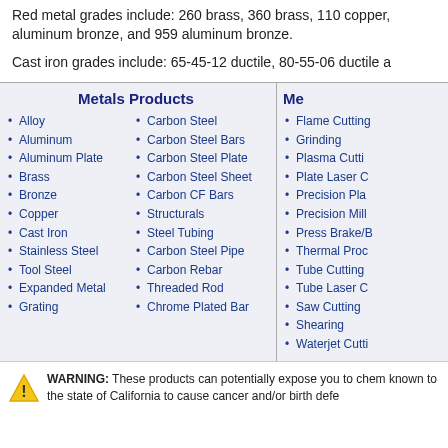Red metal grades include: 260 brass, 360 brass, 110 copper, aluminum bronze, and 959 aluminum bronze.
Cast iron grades include: 65-45-12 ductile, 80-55-06 ductile a...
Metals Products
Alloy
Aluminum
Aluminum Plate
Brass
Bronze
Copper
Cast Iron
Stainless Steel
Tool Steel
Expanded Metal
Grating
Carbon Steel
Carbon Steel Bars
Carbon Steel Plate
Carbon Steel Sheet
Carbon CF Bars
Structurals
Steel Tubing
Carbon Steel Pipe
Carbon Rebar
Threaded Rod
Chrome Plated Bar
Me...
Flame Cutting...
Grinding
Plasma Cutti...
Plate Laser C...
Precision Pla...
Precision Mill...
Press Brake/B...
Thermal Proc...
Tube Cutting
Tube Laser C...
Saw Cutting
Shearing
Waterjet Cutti...
WARNING: These products can potentially expose you to chem... known to the state of California to cause cancer and/or birth defe...